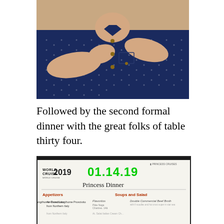[Figure (photo): Person wearing a navy blue short-sleeve button-up shirt with small white dot pattern, arms crossed over chest, photographed from chest up]
Followed by the second formal dinner with the great folks of table thirty four.
[Figure (photo): Princess Cruises World Cruise 2019 dinner menu dated 01.14.19 showing Princess Dinner menu with sections for Appetizers (Air-Cured Langthome Prosciutto from Northern Italy) and Soups and Salad (Flavoritos, Double Commercial Beef Broth), with Princess Cruises logo in upper right]